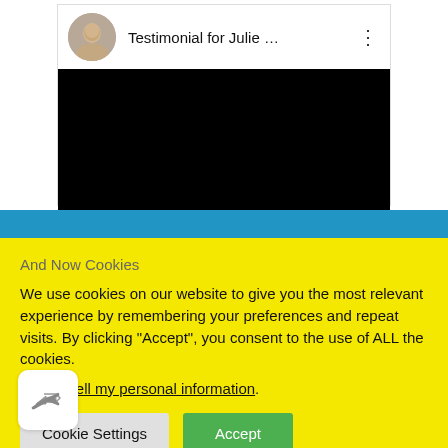[Figure (screenshot): YouTube-style video embed showing 'Testimonial for Julie ...' with a circular avatar photo of a man, three-dot menu icon, and a black video display area below]
And Now Cookies
We use cookies on our website to give you the most relevant experience by remembering your preferences and repeat visits. By clicking “Accept”, you consent to the use of ALL the cookies.
Do not sell my personal information.
Cookie Settings   Accept